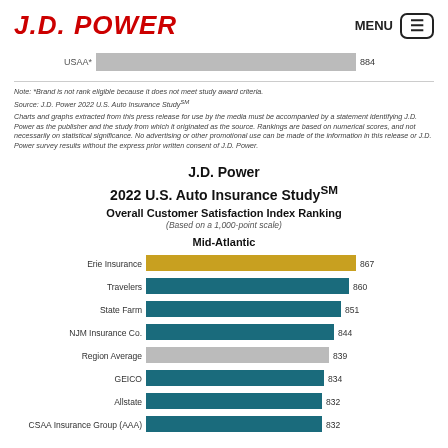J.D. POWER
[Figure (bar-chart): USAA partial bar]
Note: *Brand is not rank eligible because it does not meet study award criteria.
Source: J.D. Power 2022 U.S. Auto Insurance Study(SM)
Charts and graphs extracted from this press release for use by the media must be accompanied by a statement identifying J.D. Power as the publisher and the study from which it originated as the source. Rankings are based on numerical scores, and not necessarily on statistical significance. No advertising or other promotional use can be made of the information in this release or J.D. Power survey results without the express prior written consent of J.D. Power.
J.D. Power 2022 U.S. Auto Insurance StudySM
Overall Customer Satisfaction Index Ranking
(Based on a 1,000-point scale)
[Figure (bar-chart): Mid-Atlantic Overall Customer Satisfaction Index Ranking]